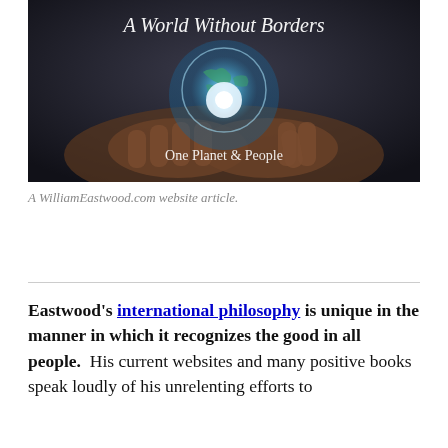[Figure (photo): Photo of hands holding a glowing Earth globe, with text overlay reading 'A World Without Borders' at top and 'One Planet & People' near the bottom, dark moody background.]
A WilliamEastwood.com website article.
Eastwood's international philosophy is unique in the manner in which it recognizes the good in all people. His current websites and many positive books speak loudly of his unrelenting efforts to